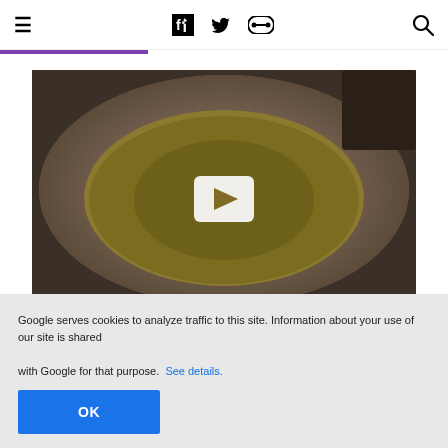≡  [Facebook icon]  [Twitter icon]  [Link icon]  [Search icon]
[Figure (photo): Blurry overhead photo of a bowl of chicken soup on a patterned plate, with a white YouTube-style play button overlay in the center]
Mother's Chicken Soup and So Much More!
Google serves cookies to analyze traffic to this site. Information about your use of our site is shared with Google for that purpose. See details.
OK